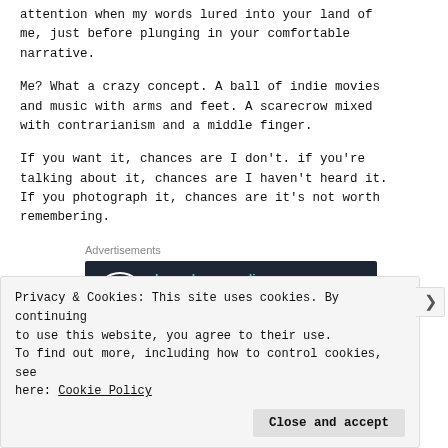attention when my words lured into your land of me, just before plunging in your comfortable narrative.
Me? What a crazy concept. A ball of indie movies and music with arms and feet. A scarecrow mixed with contrarianism and a middle finger.
If you want it, chances are I don't. if you're talking about it, chances are I haven't heard it. If you photograph it, chances are it's not worth remembering.
[Figure (other): Advertisement banner for launching online course with WordPress. Dark navy background with circular tree logo, teal text 'Launch your online course with WordPress', and white 'Learn More' button.]
Privacy & Cookies: This site uses cookies. By continuing to use this website, you agree to their use. To find out more, including how to control cookies, see here: Cookie Policy